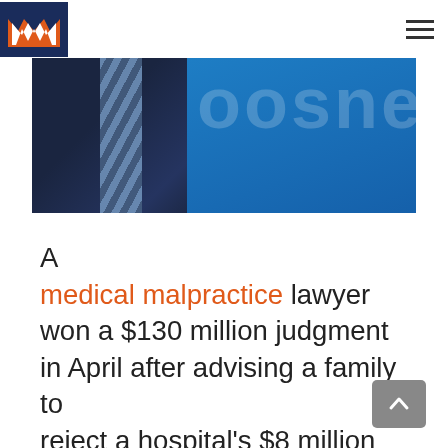Malpractice law firm logo and navigation
[Figure (photo): Photo of a lawyer in a dark suit with a striped tie against a blue background with large white text overlay]
A medical malpractice lawyer won a $130 million judgment in April after advising a family to reject a hospital's $8 million settlement offer in 2009 and losing